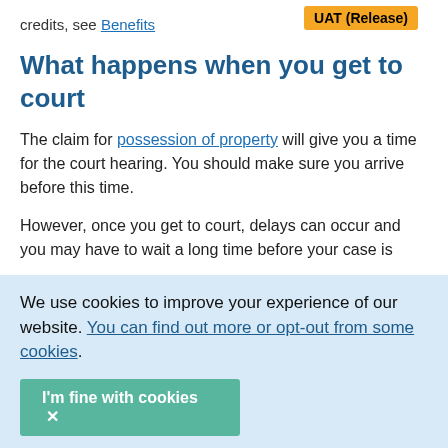credits, see Benefits
UAT (Release)
What happens when you get to court
The claim for possession of property will give you a time for the court hearing. You should make sure you arrive before this time.
However, once you get to court, delays can occur and you may have to wait a long time before your case is called.
We use cookies to improve your experience of our website. You can find out more or opt-out from some cookies.
the usher that you are there. The usher will tell
at to do.
I'm fine with cookies ✕
our mortgage lender will wi...
Get advice by email